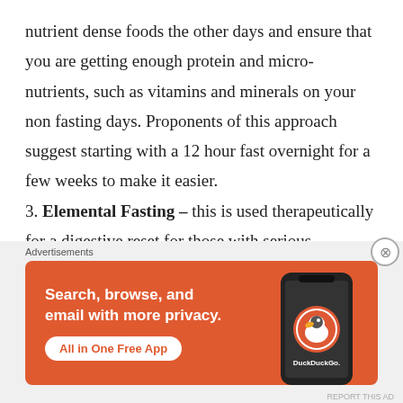nutrient dense foods the other days and ensure that you are getting enough protein and micro-nutrients, such as vitamins and minerals on your non fasting days. Proponents of this approach suggest starting with a 12 hour fast overnight for a few weeks to make it easier. 3. Elemental Fasting – this is used therapeutically for a digestive reset for those with serious infections such as parasites or
[Figure (other): DuckDuckGo advertisement banner showing 'Search, browse, and email with more privacy. All in One Free App' with DuckDuckGo logo on a phone graphic, orange background]